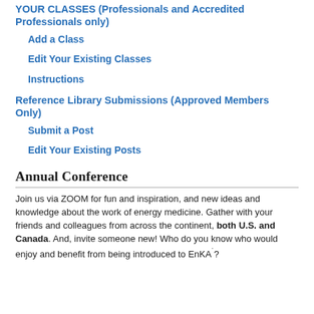YOUR CLASSES (Professionals and Accredited Professionals only)
Add a Class
Edit Your Existing Classes
Instructions
Reference Library Submissions (Approved Members Only)
Submit a Post
Edit Your Existing Posts
Annual Conference
Join us via ZOOM for fun and inspiration, and new ideas and knowledge about the work of energy medicine. Gather with your friends and colleagues from across the continent, both U.S. and Canada. And, invite someone new! Who do you know who would enjoy and benefit from being introduced to EnKA˙?